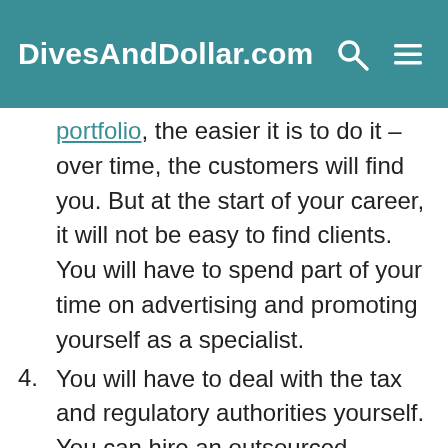DivesAndDollar.com
portfolio, the easier it is to do it – over time, the customers will find you. But at the start of your career, it will not be easy to find clients. You will have to spend part of your time on advertising and promoting yourself as a specialist.
4. You will have to deal with the tax and regulatory authorities yourself. You can hire an outsourced accountant for this, but you will have to pay for his